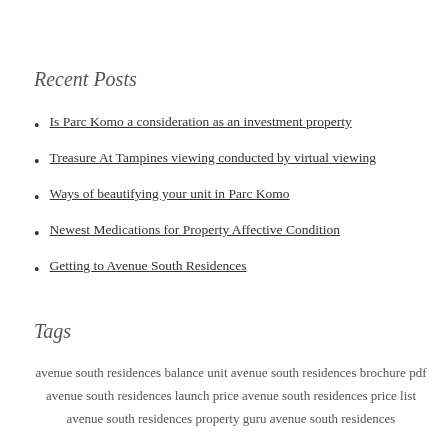Recent Posts
Is Parc Komo a consideration as an investment property
Treasure At Tampines viewing conducted by virtual viewing
Ways of beautifying your unit in Parc Komo
Newest Medications for Property Affective Condition
Getting to Avenue South Residences
Tags
avenue south residences balance unit avenue south residences brochure pdf avenue south residences launch price avenue south residences price list avenue south residences property guru avenue south residences